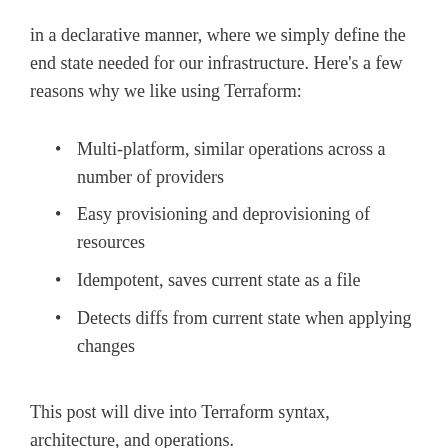in a declarative manner, where we simply define the end state needed for our infrastructure. Here's a few reasons why we like using Terraform:
Multi-platform, similar operations across a number of providers
Easy provisioning and deprovisioning of resources
Idempotent, saves current state as a file
Detects diffs from current state when applying changes
This post will dive into Terraform syntax, architecture, and operations.
Terraform Syntax
The base language of Terraform is defined in…